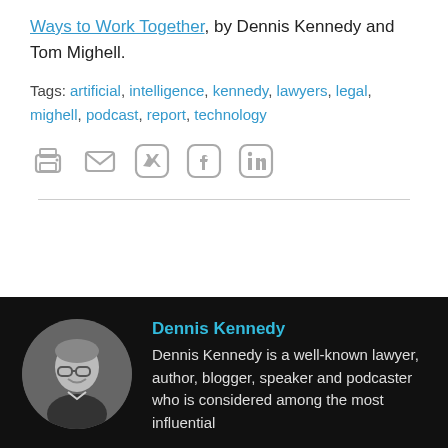Ways to Work Together, by Dennis Kennedy and Tom Mighell.
Tags: artificial, intelligence, kennedy, lawyers, legal, mighell, podcast, report, technology
[Figure (infographic): Social sharing icons: print, email, Twitter, Facebook, LinkedIn]
[Figure (photo): Author bio card with black background showing Dennis Kennedy's circular portrait photo]
Dennis Kennedy
Dennis Kennedy is a well-known lawyer, author, blogger, speaker and podcaster who is considered among the most influential